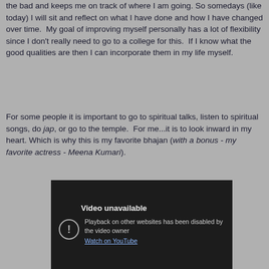the bad and keeps me on track of where I am going. So somedays (like today) I will sit and reflect on what I have done and how I have changed over time.  My goal of improving myself personally has a lot of flexibility since I don't really need to go to a college for this.  If I know what the good qualities are then I can incorporate them in my life myself.
For some people it is important to go to spiritual talks, listen to spiritual songs, do jap, or go to the temple.  For me...it is to look inward in my heart. Which is why this is my favorite bhajan (with a bonus - my favorite actress - Meena Kumari).
[Figure (screenshot): Embedded video player showing 'Video unavailable' message. Text reads: 'Playback on other websites has been disabled by the video owner' with a 'Watch on YouTube' link. Dark background with warning icon.]